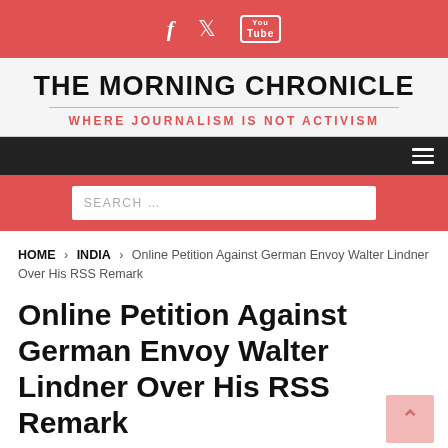Social icons: Facebook, Twitter, YouTube
THE MORNING CHRONICLE
WHERE JOURNALISM IS NOT ACTIVISM
Navigation menu bar
SEARCH ...
HOME > INDIA > Online Petition Against German Envoy Walter Lindner Over His RSS Remark
Online Petition Against German Envoy Walter Lindner Over His RSS Remark